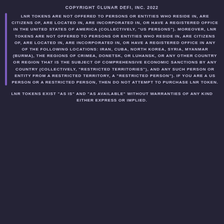COPYRIGHT ©LUNAR DEFI, INC. 2022
LNR TOKENS ARE NOT OFFERED TO PERSONS OR ENTITIES WHO RESIDE IN, ARE CITIZENS OF, ARE LOCATED IN, ARE INCORPORATED IN, OR HAVE A REGISTERED OFFICE IN THE UNITED STATES OF AMERICA (COLLECTIVELY, "US PERSONS"). MOREOVER, LNR TOKENS ARE NOT OFFERED TO PERSONS OR ENTITIES WHO RESIDE IN, ARE CITIZENS OF, ARE LOCATED IN, ARE INCORPORATED IN, OR HAVE A REGISTERED OFFICE IN ANY OF THE FOLLOWING LOCATIONS: IRAN, CUBA, NORTH KOREA, SYRIA, MYANMAR (BURMA), THE REGIONS OF CRIMEA, DONETSK, OR LUHANSK, OR ANY OTHER COUNTRY OR REGION THAT IS THE SUBJECT OF COMPREHENSIVE ECONOMIC SANCTIONS BY ANY COUNTRY (COLLECTIVELY, "RESTRICTED TERRITORIES"), AND ANY SUCH PERSON OR ENTITY FROM A RESTRICTED TERRITORY, A "RESTRICTED PERSON"). IF YOU ARE A US PERSON OR A RESTRICTED PERSON, THEN DO NOT ATTEMPT TO PURCHASE LNR TOKEN.
LNR TOKENS EXIST "AS IS" AND "AS AVAILABLE" WITHOUT WARRANTIES OF ANY KIND EITHER EXPRESS OR IMPLIED.